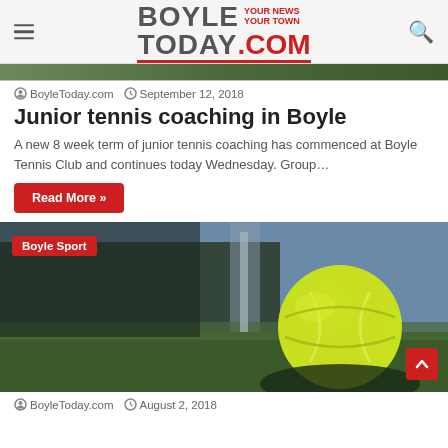BoyleToday.com — YOUR NEWS YOUR TOWN
BoyleToday.com   September 12, 2018
Junior tennis coaching in Boyle
A new 8 week term of junior tennis coaching has commenced at Boyle Tennis Club and continues today Wednesday. Group…
Read More »
[Figure (photo): Close-up photograph of a yellow-green tennis ball on grass court with blurred background. Red tag reads 'Boyle Sport'.]
BoyleToday.com   August 2, 2018